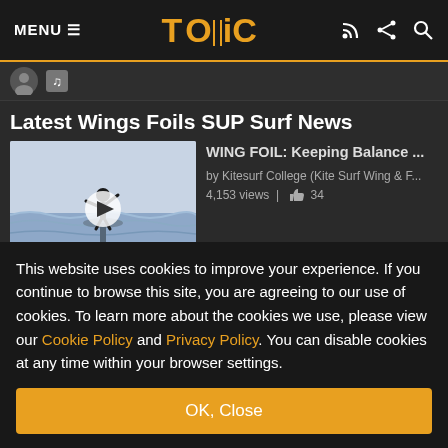MENU ≡   TONIC   [RSS] [Share] [Search]
[Figure (screenshot): Partial view of profile icons strip]
Latest Wings Foils SUP Surf News
[Figure (photo): Thumbnail of wing foil video showing person on hydrofoil board above water with play button overlay]
WING FOIL: Keeping Balance ...
by Kitesurf College (Kite Surf Wing & F...
4,153 views | 👍 34
Young Blood Wing Weekend in
This website uses cookies to improve your experience. If you continue to browse this site, you are agreeing to our use of cookies. To learn more about the cookies we use, please view our Cookie Policy and Privacy Policy. You can disable cookies at any time within your browser settings.
OK, Close